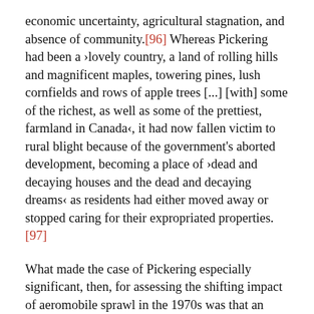economic uncertainty, agricultural stagnation, and absence of community.[96] Whereas Pickering had been a ›lovely country, a land of rolling hills and magnificent maples, towering pines, lush cornfields and rows of apple trees [...] [with] some of the richest, as well as some of the prettiest, farmland in Canada‹, it had now fallen victim to rural blight because of the government's aborted development, becoming a place of ›dead and decaying houses and the dead and decaying dreams‹ as residents had either moved away or stopped caring for their expropriated properties.[97]
What made the case of Pickering especially significant, then, for assessing the shifting impact of aeromobile sprawl in the 1970s was that an unbuilt airport could paralyze local development and impact communities and the environment in its own way. Even if unfinished, the particular